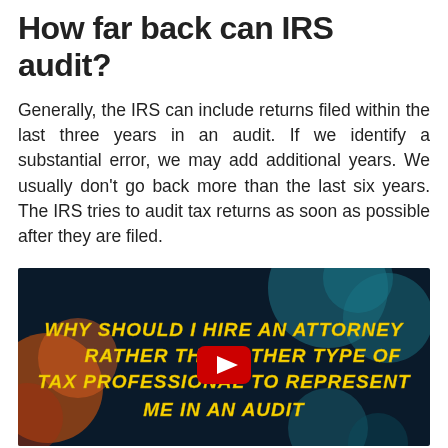How far back can IRS audit?
Generally, the IRS can include returns filed within the last three years in an audit. If we identify a substantial error, we may add additional years. We usually don't go back more than the last six years. The IRS tries to audit tax returns as soon as possible after they are filed.
[Figure (screenshot): YouTube video thumbnail with dark bokeh background and yellow italic bold text reading 'WHY SHOULD I HIRE AN ATTORNEY RATHER THAN OTHER TYPE OF TAX PROFESSIONAL TO REPRESENT ME IN AN AUDIT' with a YouTube play button in the center]